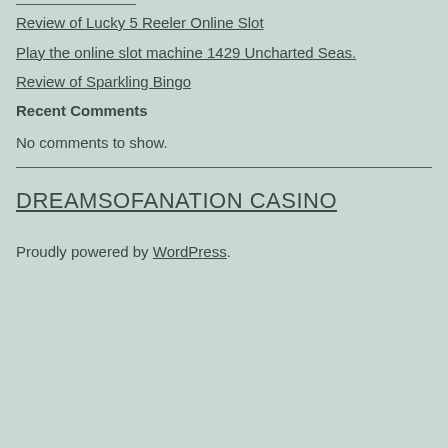Review of Lucky 5 Reeler Online Slot
Play the online slot machine 1429 Uncharted Seas.
Review of Sparkling Bingo
Recent Comments
No comments to show.
DREAMSOFANATION CASINO
Proudly powered by WordPress.